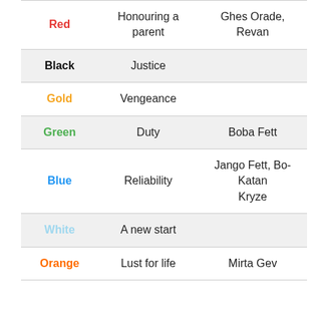| Color | Meaning | Notable Wearers |
| --- | --- | --- |
| Red | Honouring a parent | Ghes Orade, Revan |
| Black | Justice |  |
| Gold | Vengeance |  |
| Green | Duty | Boba Fett |
| Blue | Reliability | Jango Fett, Bo-Katan Kryze |
| White | A new start |  |
| Orange | Lust for life | Mirta Gev |